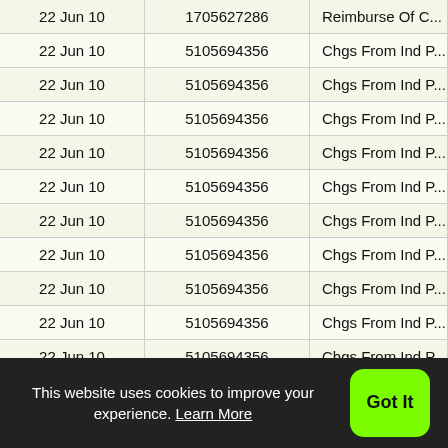| Date | Account | Description |
| --- | --- | --- |
| 22 Jun 10 | 1705627286 | Reimburse Of C... |
| 22 Jun 10 | 5105694356 | Chgs From Ind P... |
| 22 Jun 10 | 5105694356 | Chgs From Ind P... |
| 22 Jun 10 | 5105694356 | Chgs From Ind P... |
| 22 Jun 10 | 5105694356 | Chgs From Ind P... |
| 22 Jun 10 | 5105694356 | Chgs From Ind P... |
| 22 Jun 10 | 5105694356 | Chgs From Ind P... |
| 22 Jun 10 | 5105694356 | Chgs From Ind P... |
| 22 Jun 10 | 5105694356 | Chgs From Ind P... |
| 22 Jun 10 | 5105694356 | Chgs From Ind P... |
| 22 Jun 10 | 5105694356 | Chgs From Ind P... |
| 22 Jun 10 | 5105694356 | Chgs From Ind P... |
| 22 Jun 10 | 5105694356 | Chgs From Ind P... |
This website uses cookies to improve your experience. Learn More